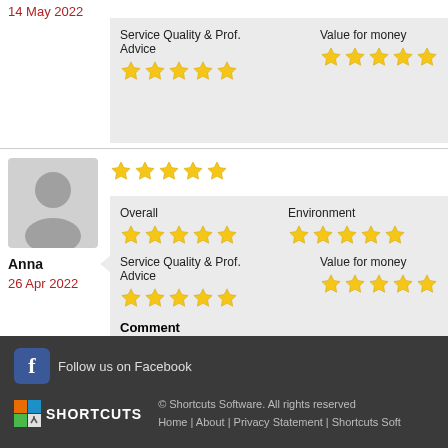14 May 2022
Service Quality & Prof. Advice | Value for money (5 stars each)
Anna
26 Apr 2022
Overall | Environment | Service Quality & Prof. Advice | Value for money (5 stars each)
Comment
Gorgeous Salon with excellent service Thank you Francis-I lov curly blow dry!
1 2 3 4 5 6 7 8 9 10 ... 21 22   1 - 6
Follow us on Facebook
© Shortcuts Software. All rights reserved
Home | About | Privacy Statement | Shortcuts Soft